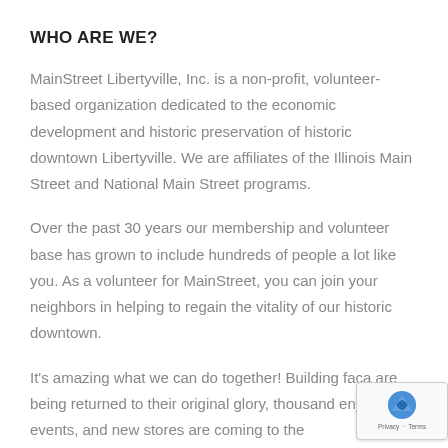WHO ARE WE?
MainStreet Libertyville, Inc. is a non-profit, volunteer-based organization dedicated to the economic development and historic preservation of historic downtown Libertyville. We are affiliates of the Illinois Main Street and National Main Street programs.
Over the past 30 years our membership and volunteer base has grown to include hundreds of people a lot like you. As a volunteer for MainStreet, you can join your neighbors in helping to regain the vitality of our historic downtown.
It's amazing what we can do together! Building faca are being returned to their original glory, thousand enjoy our events, and new stores are coming to the